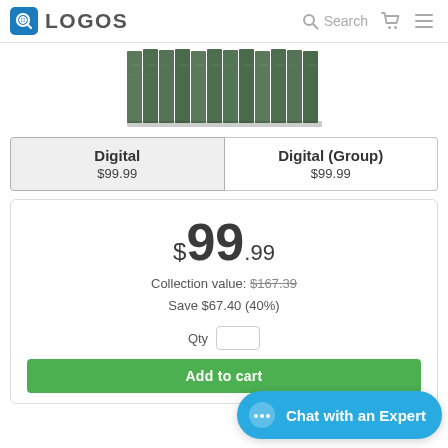LOGOS — Search
[Figure (photo): Row of dark green book volumes from a multi-volume set]
Digital $99.99 | Digital (Group) $99.99
$99.99 Collection value: $167.39 Save $67.40 (40%) Qty
Add to cart
Chat with an Expert